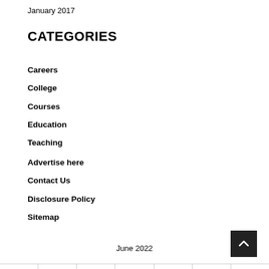January 2017
CATEGORIES
Careers
College
Courses
Education
Teaching
Advertise here
Contact Us
Disclosure Policy
Sitemap
June 2022